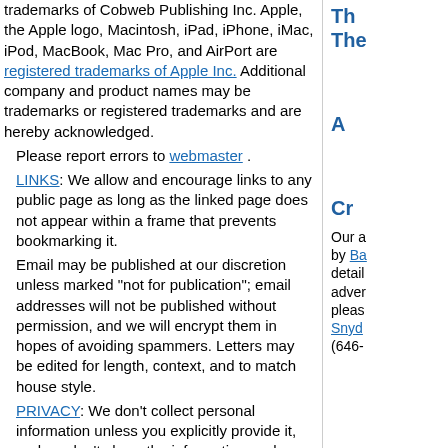trademarks of Cobweb Publishing Inc. Apple, the Apple logo, Macintosh, iPad, iPhone, iMac, iPod, MacBook, Mac Pro, and AirPort are registered trademarks of Apple Inc. Additional company and product names may be trademarks or registered trademarks and are hereby acknowledged.
Please report errors to webmaster .
LINKS: We allow and encourage links to any public page as long as the linked page does not appear within a frame that prevents bookmarking it.
Email may be published at our discretion unless marked "not for publication"; email addresses will not be published without permission, and we will encrypt them in hopes of avoiding spammers. Letters may be edited for length, context, and to match house style.
PRIVACY: We don't collect personal information unless you explicitly provide it, and we don't share the information we have with others. For more details, see our Terms of Use.
Th
The
A
Cr
Our a by Ba detail adver pleas Snyd (646-